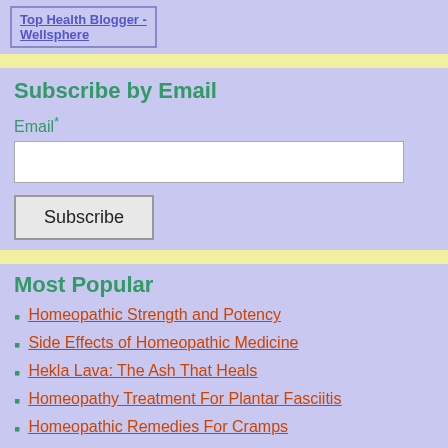[Figure (logo): Top Health Blogger - Wellsphere badge/logo link]
Subscribe by Email
Email*
Most Popular
Homeopathic Strength and Potency
Side Effects of Homeopathic Medicine
Hekla Lava: The Ash That Heals
Homeopathy Treatment For Plantar Fasciitis
Homeopathic Remedies For Cramps